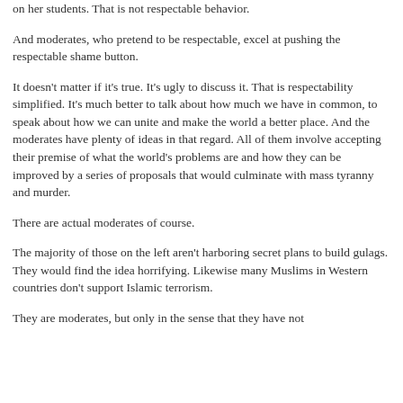on her students. That is not respectable behavior.
And moderates, who pretend to be respectable, excel at pushing the respectable shame button.
It doesn't matter if it's true. It's ugly to discuss it. That is respectability simplified. It's much better to talk about how much we have in common, to speak about how we can unite and make the world a better place. And the moderates have plenty of ideas in that regard. All of them involve accepting their premise of what the world's problems are and how they can be improved by a series of proposals that would culminate with mass tyranny and murder.
There are actual moderates of course.
The majority of those on the left aren't harboring secret plans to build gulags. They would find the idea horrifying. Likewise many Muslims in Western countries don't support Islamic terrorism.
They are moderates, but only in the sense that they have not